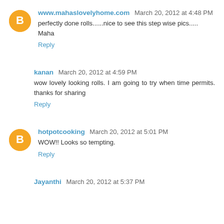www.mahaslovelyhome.com  March 20, 2012 at 4:48 PM
perfectly done rolls......nice to see this step wise pics.....
Maha
Reply
kanan  March 20, 2012 at 4:59 PM
wow lovely looking rolls. I am going to try when time permits. thanks for sharing
Reply
hotpotcooking  March 20, 2012 at 5:01 PM
WOW!! Looks so tempting.
Reply
Jayanthi  March 20, 2012 at 5:37 PM